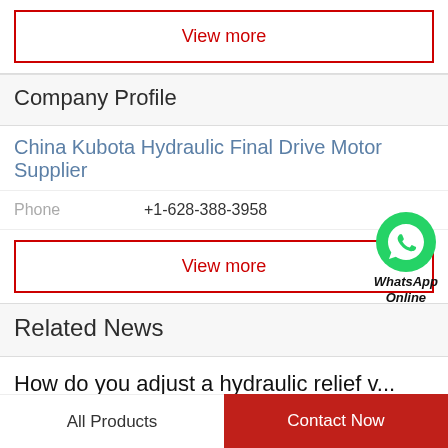View more
Company Profile
China Kubota Hydraulic Final Drive Motor Supplier
Phone   +1-628-388-3958
View more
[Figure (logo): WhatsApp Online green circle logo with phone icon, labeled WhatsApp Online in bold italic text]
Related News
How do you adjust a hydraulic relief v...
All Products   Contact Now